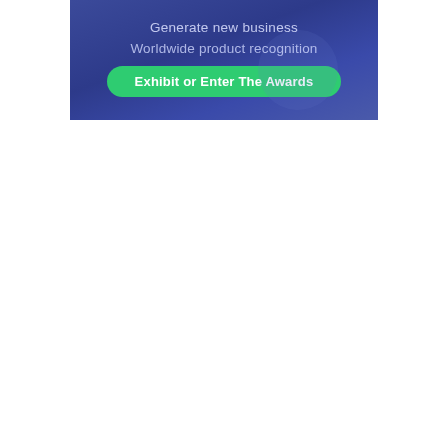Generate new business
Worldwide product recognition
Exhibit or Enter The Awards